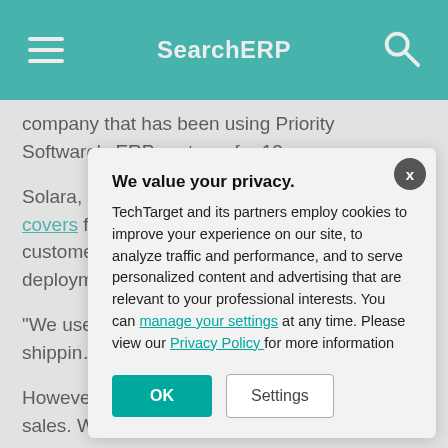SearchERP
company that has been using Priority Software's ERP systems for 10 years.
Solara, a Phoenix-based firm that makes patio covers for residential and commercial customers, runs its operations on Pr... cloud deployment... Adjustable Patio...
"We use it for ba... managing the qu... process, shippin... Razon said. "It's...
However, the int... apps has greatly... and sales. Ware...
We value your privacy.
TechTarget and its partners employ cookies to improve your experience on our site, to analyze traffic and performance, and to serve personalized content and advertising that are relevant to your professional interests. You can manage your settings at any time. Please view our Privacy Policy for more information